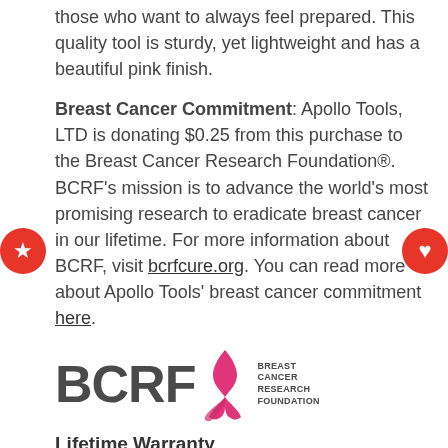those who want to always feel prepared. This quality tool is sturdy, yet lightweight and has a beautiful pink finish.
Breast Cancer Commitment: Apollo Tools, LTD is donating $0.25 from this purchase to the Breast Cancer Research Foundation®. BCRF's mission is to advance the world's most promising research to eradicate breast cancer in our lifetime. For more information about BCRF, visit bcrfcure.org. You can read more about Apollo Tools' breast cancer commitment here.
[Figure (logo): BCRF Breast Cancer Research Foundation logo with pink ribbon]
Lifetime Warranty